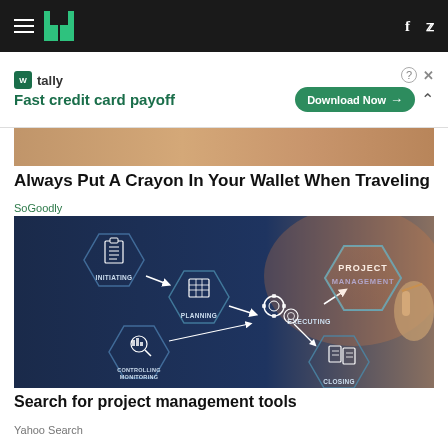HuffPost header with hamburger menu, logo, Facebook and Twitter icons
[Figure (screenshot): Tally app advertisement banner: 'Fast credit card payoff' with Download Now button]
[Figure (photo): Partial image of a person, cropped at top]
Always Put A Crayon In Your Wallet When Traveling
SoGoodly
[Figure (infographic): Project management hexagon diagram showing: Initiating, Planning, Executing, Controlling/Monitoring, Closing phases with arrows, and PROJECT MANAGEMENT label on the right with a hand pointing]
Search for project management tools
Yahoo Search